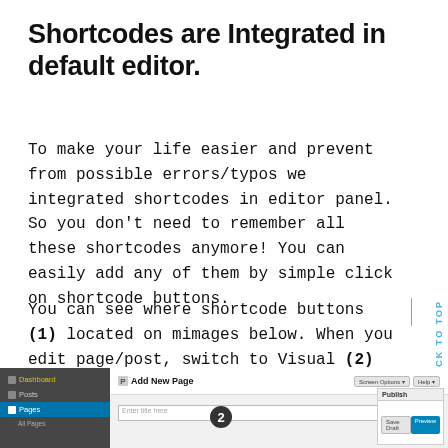Shortcodes are Integrated in default editor.
To make your life easier and prevent from possible errors/typos we integrated shortcodes in editor panel. So you don't need to remember all these shortcodes anymore! You can easily add any of them by simple click on shortcode buttons.
You can see where shortcode buttons (1) located on mimages below. When you edit page/post, switch to Visual (2) mode to see shortcode buttons.
[Figure (screenshot): WordPress admin panel screenshot showing Add New Page interface with sidebar navigation (Dashboard, Posts, Pages highlighted), title input field, Publish metabox with Save Draft and Preview buttons, and a circled number 2 marker.]